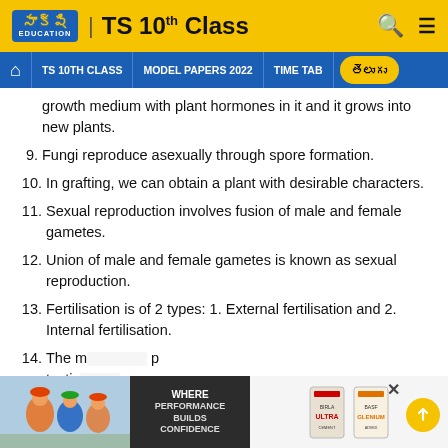Sakshi Education | TS 10th Class
TS 10TH CLASS | MODEL PAPERS 2022 | TIME TABLE | తెలుగు
growth medium with plant hormones in it and it grows into new plants.
9. Fungi reproduce asexually through spore formation.
10. In grafting, we can obtain a plant with desirable characters.
11. Sexual reproduction involves fusion of male and female gametes.
12. Union of male and female gametes is known as sexual reproduction.
13. Fertilisation is of 2 types: 1. External fertilisation and 2. Internal fertilisation.
14. The male reproductive organ of a flower is the testis...